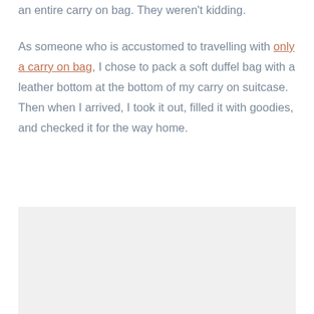an entire carry on bag. They weren't kidding.
As someone who is accustomed to travelling with only a carry on bag, I chose to pack a soft duffel bag with a leather bottom at the bottom of my carry on suitcase. Then when I arrived, I took it out, filled it with goodies, and checked it for the way home.
[Figure (photo): A light grey/white placeholder image box]